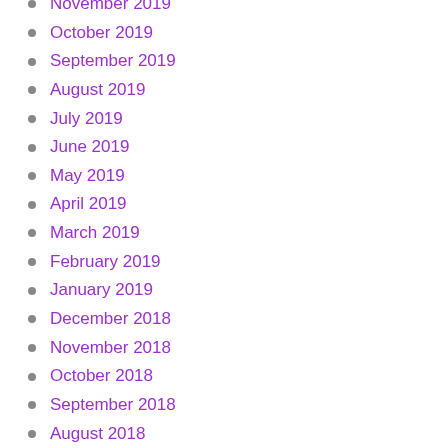November 2019
October 2019
September 2019
August 2019
July 2019
June 2019
May 2019
April 2019
March 2019
February 2019
January 2019
December 2018
November 2018
October 2018
September 2018
August 2018
July 2018
June 2018
May 2018
April 2018
March 2018
February 2018
January 2018